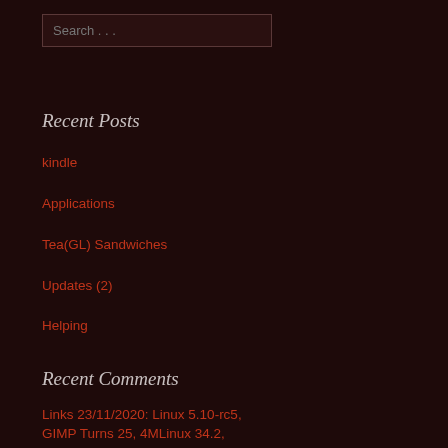[Figure (other): Search input box with placeholder text 'Search ...']
Recent Posts
kindle
Applications
Tea(GL) Sandwiches
Updates (2)
Helping
Recent Comments
Links 23/11/2020: Linux 5.10-rc5, GIMP Turns 25, 4MLinux 34.2, Fanuelos Linux 5.11, MPV Player...